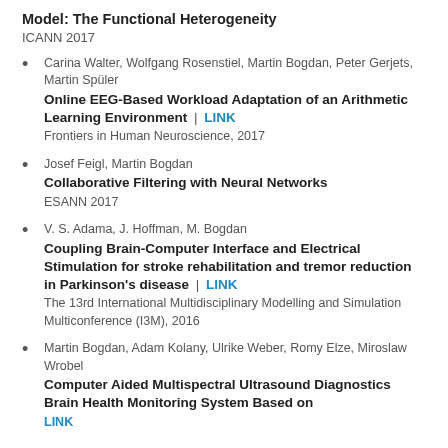Model: The Functional Heterogeneity
ICANN 2017
Carina Walter, Wolfgang Rosenstiel, Martin Bogdan, Peter Gerjets, Martin Spüler | Online EEG-Based Workload Adaptation of an Arithmetic Learning Environment | LINK | Frontiers in Human Neuroscience, 2017
Josef Feigl, Martin Bogdan | Collaborative Filtering with Neural Networks | ESANN 2017
V. S. Adama, J. Hoffman, M. Bogdan | Coupling Brain-Computer Interface and Electrical Stimulation for stroke rehabilitation and tremor reduction in Parkinson's disease | LINK | The 13rd International Multidisciplinary Modelling and Simulation Multiconference (I3M), 2016
Martin Bogdan, Adam Kolany, Ulrike Weber, Romy Elze, Miroslaw Wrobel | Computer Aided Multispectral Ultrasound Diagnostics Brain Health Monitoring System Based on ... | LINK